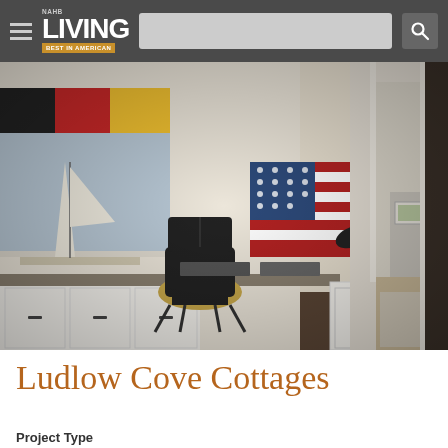NAHB LIVING BEST IN AMERICAN
[Figure (photo): Interior photo of a nautical-themed home office/mudroom with white cabinetry, dark desk chair, American flag wall art, sailboat model by window, and hallway view]
Ludlow Cove Cottages
Project Type